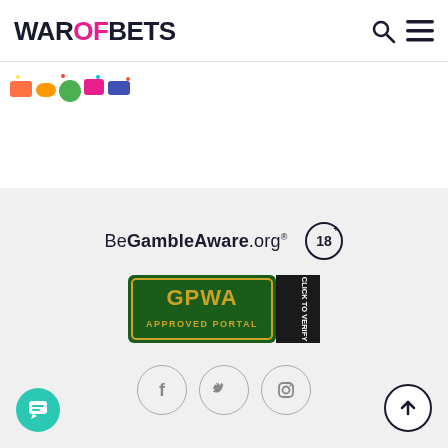WAROFBETS
[Figure (illustration): Small colorful bonus/casino game icons in a strip near top-left]
[Figure (logo): BeGambleAware.org logo with 18+ circle badge]
[Figure (logo): GPWA Approved Portal badge with Click to Verify label]
[Figure (other): Social media icons: Facebook, Twitter, Instagram in circles]
[Figure (other): Chat button (teal circle) bottom-left and scroll-to-top button bottom-right]